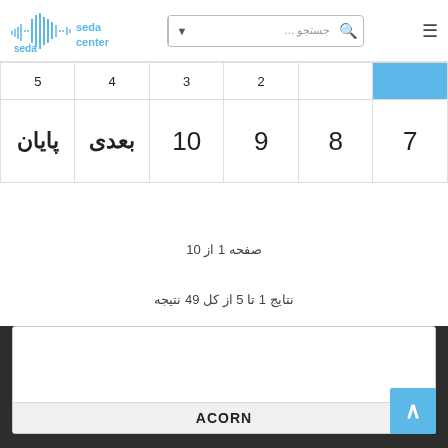[Figure (logo): Seda Center logo with blue sound wave graphic and text 'seda center']
[Figure (screenshot): Search box with Persian placeholder text 'جستجو ...' and dropdown arrow]
| 1 | 2 | 3 | 4 | 5 |  |
| 7 | 8 | 9 | 10 | بعدی | پایان |
صفحه 1 از 10
نتایج 1 تا 5 از کل 49 نتیجه
ACORN